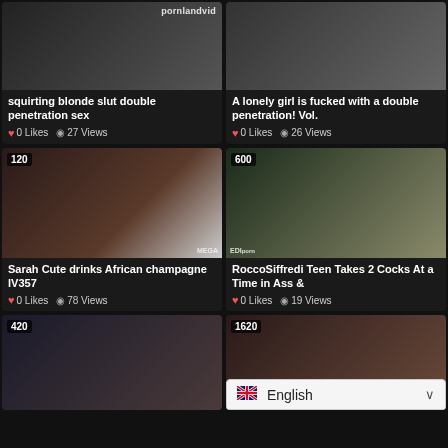[Figure (screenshot): Video thumbnail top-left with pornlandvid watermark]
squirting blonde slut double penetration sex
0 Likes  27 Views
[Figure (screenshot): Video thumbnail top-right]
A lonely girl is fucked with a double penetration! Vol.
0 Likes  26 Views
[Figure (screenshot): Video thumbnail middle-left duration 120, MEGA watermark]
Sarah Cute drinks African champagne lV357
0 Likes  78 Views
[Figure (screenshot): Video thumbnail middle-right duration 600, EDI watermark]
RoccoSiffredi Teen Takes 2 Cocks At a Time in Ass &
0 Likes  19 Views
[Figure (screenshot): Video thumbnail bottom-left duration 420]
[Figure (screenshot): Video thumbnail bottom-right duration 1620 with English language selector overlay]